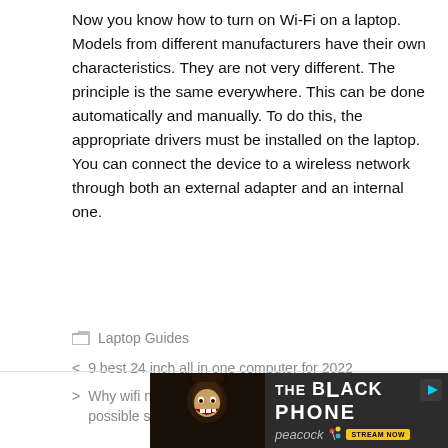Now you know how to turn on Wi-Fi on a laptop. Models from different manufacturers have their own characteristics. They are not very different. The principle is the same everywhere. This can be done automatically and manually. To do this, the appropriate drivers must be installed on the laptop. You can connect the device to a wireless network through both an external adapter and an internal one.
Laptop Guides
9 best 24 inch all in one computer for 2022
Why wifi network not showing up on laptop and possible solution
[Figure (other): Advertisement banner for The Black Phone on Peacock - Stream Now]